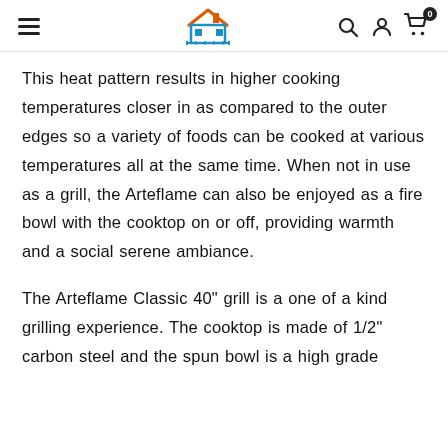INNOVDEPOT
This heat pattern results in higher cooking temperatures closer in as compared to the outer edges so a variety of foods can be cooked at various temperatures all at the same time. When not in use as a grill, the Arteflame can also be enjoyed as a fire bowl with the cooktop on or off, providing warmth and a social serene ambiance.
The Arteflame Classic 40" grill is a one of a kind grilling experience. The cooktop is made of 1/2" carbon steel and the spun bowl is a high grade